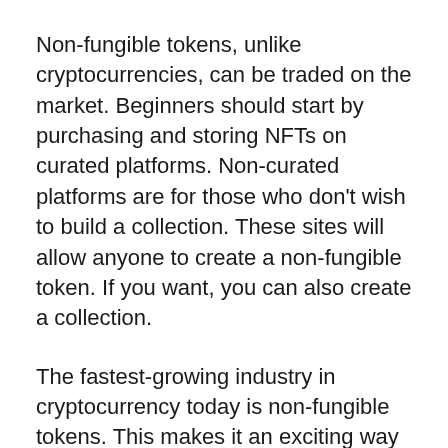Non-fungible tokens, unlike cryptocurrencies, can be traded on the market. Beginners should start by purchasing and storing NFTs on curated platforms. Non-curated platforms are for those who don’t wish to build a collection. These sites will allow anyone to create a non-fungible token. If you want, you can also create a collection.
The fastest-growing industry in cryptocurrency today is non-fungible tokens. This makes it an exciting way to invest. If you’re looking for a new way to collect valuable items, a crypto-currency collection might be the right choice. They’re fun to own and make it easy to trade. The money you earn could be very valuable in the long-term.